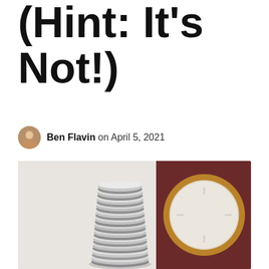(Hint: It's Not!)
Ben Flavin on April 5, 2021
[Figure (photo): A tall stack of silver coins in the foreground, with a blurred gold and wooden clock in the background, on a light surface.]